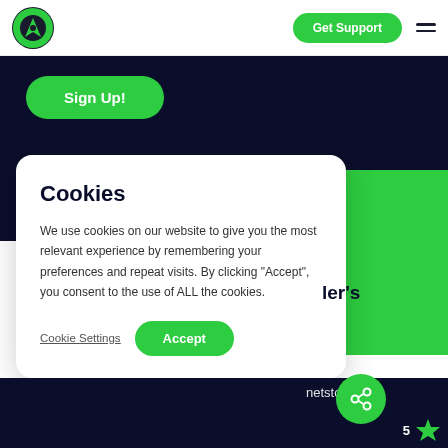[Figure (logo): Green and black circular logo with arrow/road graphic]
Get Support
Sign Up!
Cookies
We use cookies on our website to give you the most relevant experience by remembering your preferences and repeat visits. By clicking “Accept”, you consent to the use of ALL the cookies.
Cookie Settings
Accept
ler's
netstone
[Figure (other): Green circle with share/network icon]
5